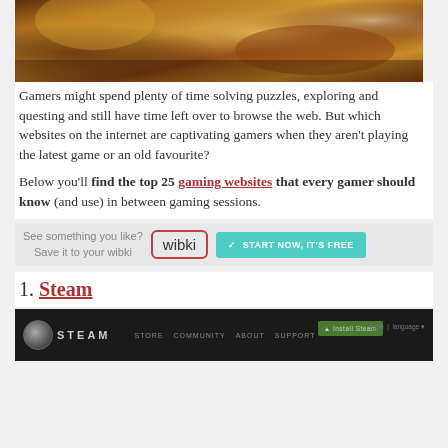[Figure (photo): Game screenshot or artwork showing armored/costumed figures with golden and red colors]
Gamers might spend plenty of time solving puzzles, exploring and questing and still have time left over to browse the web. But which websites on the internet are captivating gamers when they aren't playing the latest game or an old favourite?
Below you'll find the top 25 gaming websites that every gamer should know (and use) in between gaming sessions.
[Figure (infographic): Wibki advertisement banner: 'See something you like? Save it to your wibki' with wibki logo and 'START NOW, IT'S FREE' button]
1. Steam
[Figure (screenshot): Steam website header showing dark navigation bar with Steam logo, STORE, COMMUNITY, ABOUT, SUPPORT links, Install Steam button, login and language options]